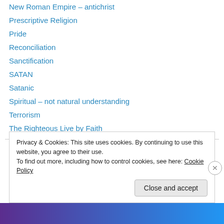New Roman Empire – antichrist
Prescriptive Religion
Pride
Reconciliation
Sanctification
SATAN
Satanic
Spiritual – not natural understanding
Terrorism
The Righteous Live by Faith
Vision of Daniel
Western Values
Privacy & Cookies: This site uses cookies. By continuing to use this website, you agree to their use. To find out more, including how to control cookies, see here: Cookie Policy
Close and accept